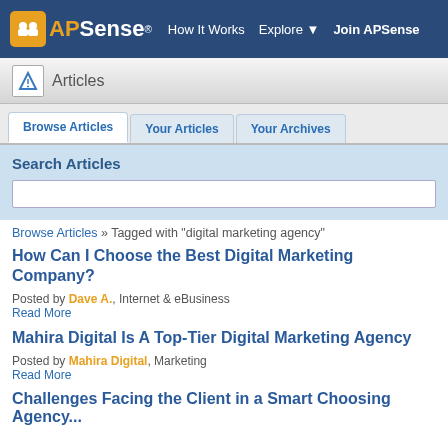APSense® | How It Works | Explore | Join APSense
Articles
Browse Articles | Your Articles | Your Archives
Search Articles
Browse Articles » Tagged with "digital marketing agency"
How Can I Choose the Best Digital Marketing Company?
Posted by Dave A., Internet & eBusiness
Read More
Mahira Digital Is A Top-Tier Digital Marketing Agency
Posted by Mahira Digital, Marketing
Read More
Challenges Facing the Client in a Smart Choosing Agency...